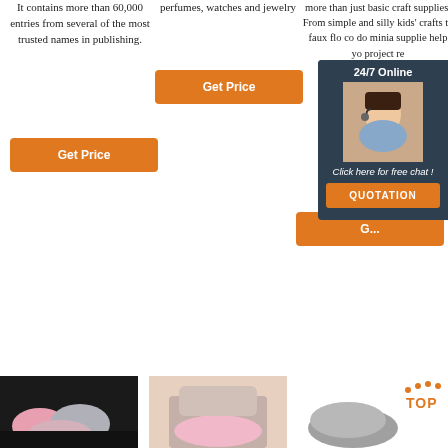It contains more than 60,000 entries from several of the most trusted names in publishing.
perfumes, watches and jewelry
more than just basic craft supplies. From simple and silly kids' crafts to faux flo... co... do... minia... supplie... help yo... project... re...
[Figure (screenshot): Orange Get Price button (column 2 top)]
[Figure (screenshot): Orange Get Price button (column 1)]
[Figure (screenshot): 24/7 Online chat popup with customer service agent photo, italic text 'Click here for free chat!', and orange QUOTATION button]
[Figure (screenshot): Orange Get Price button (column 3 bottom)]
[Figure (photo): Fluffy pink and grey decorative cushions on a dark sofa]
[Figure (photo): Pink fluffy faux fur seat pad on a chair]
[Figure (photo): Grey sheepskin rug]
[Figure (logo): TOP logo with orange dots arranged in arc above the text]